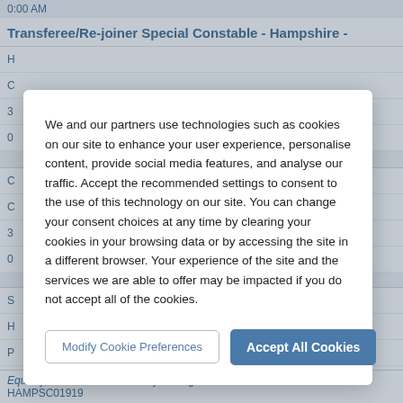0:00 AM
Transferee/Re-joiner Special Constable - Hampshire -
H
C
3
0
C
C
3
0
S
H
P
3
0
We and our partners use technologies such as cookies on our site to enhance your user experience, personalise content, provide social media features, and analyse our traffic. Accept the recommended settings to consent to the use of this technology on our site. You can change your consent choices at any time by clearing your cookies in your browsing data or by accessing the site in a different browser. Your experience of the site and the services we are able to offer may be impacted if you do not accept all of the cookies.
Modify Cookie Preferences
Accept All Cookies
Equality, Inclusion and Diversity Manager.
HAMPSC01919